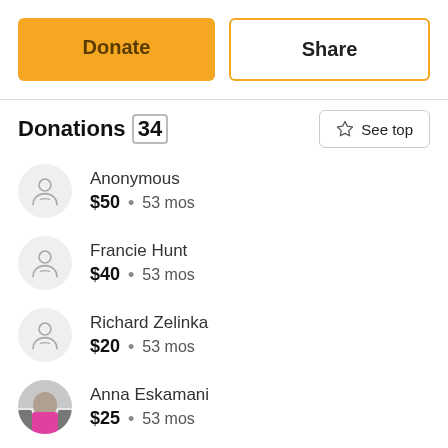Donate
Share
Donations (34)
See top
Anonymous
$50 • 53 mos
Francie Hunt
$40 • 53 mos
Richard Zelinka
$20 • 53 mos
Anna Eskamani
$25 • 53 mos